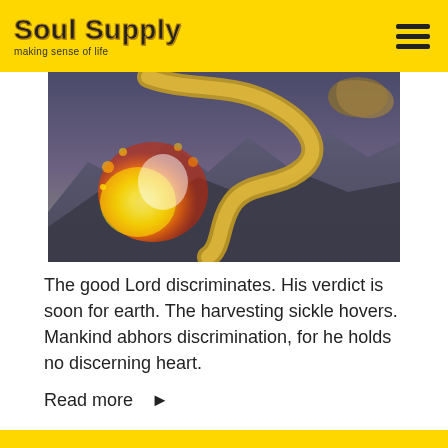Soul Supply — making sense of life
[Figure (illustration): Fantasy illustration of a large serpentine dragon or creature breathing fire or engulfed in flames, set against a dramatic dark mountainous landscape background.]
The good Lord discriminates. His verdict is soon for earth. The harvesting sickle hovers. Mankind abhors discrimination, for he holds no discerning heart.
Read more ▶